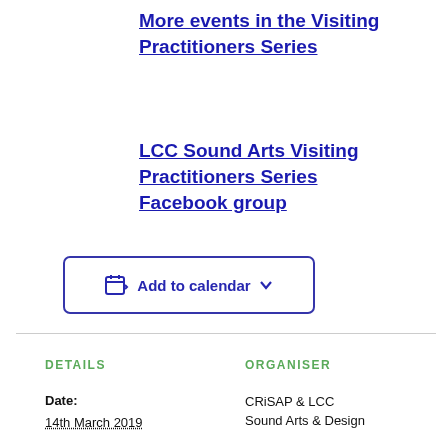More events in the Visiting Practitioners Series
LCC Sound Arts Visiting Practitioners Series Facebook group
Add to calendar
DETAILS
ORGANISER
Date:
14th March 2019
CRiSAP & LCC Sound Arts & Design